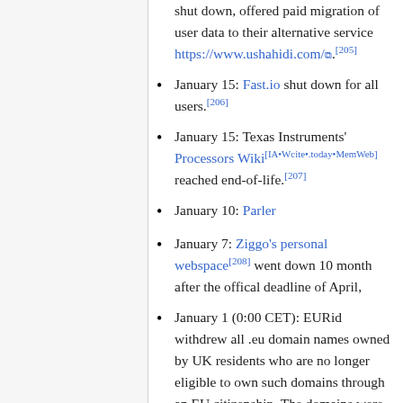shut down, offered paid migration of user data to their alternative service https://www.ushahidi.com/[205]
January 15: Fast.io shut down for all users.[206]
January 15: Texas Instruments' Processors Wiki[IA•Wcite•.today•MemWeb] reached end-of-life.[207]
January 10: Parler
January 7: Ziggo's personal webspace[208] went down 10 month after the offical deadline of April,
January 1 (0:00 CET): EURid withdrew all .eu domain names owned by UK residents who are no longer eligible to own such domains through an EU citizenship. The domains were frozen and are non-functional for one year and will then